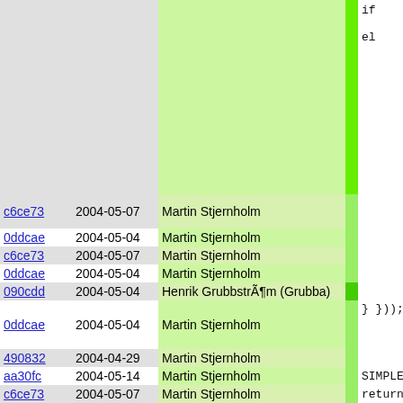| hash | date | author | code |
| --- | --- | --- | --- |
|  |  |  | if

el |
| c6ce73 | 2004-05-07 | Martin Stjernholm |  |
| 0ddcae | 2004-05-04 | Martin Stjernholm |  |
| c6ce73 | 2004-05-07 | Martin Stjernholm |  |
| 0ddcae | 2004-05-04 | Martin Stjernholm |  |
| 090cdd | 2004-05-04 | Henrik GrubbstrÃ¶m (Grubba) |  |
| 0ddcae | 2004-05-04 | Martin Stjernholm | }
}); |
| 490832 | 2004-04-29 | Martin Stjernholm |  |
| aa30fc | 2004-05-14 | Martin Stjernholm | SIMPLE_T |
| c6ce73 | 2004-05-07 | Martin Stjernholm | return l |
| 12cfc5 | 2004-04-28 | Henrik GrubbstrÃ¶m (Grubba) | } |
| 51c8d1 | 2004-05-05 | Martin Stjernholm | //! Regist
//! there |
| dd03b2 | 2006-04-20 | Henrik GrubbstrÃ¶m (Grubba) | //! that @ |